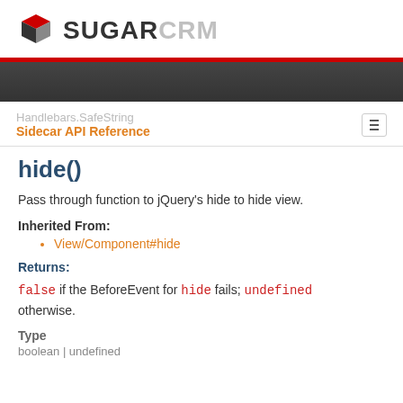SugarCRM
Handlebars.SafeString
Sidecar API Reference
hide()
Pass through function to jQuery's hide to hide view.
Inherited From:
View/Component#hide
Returns:
false if the BeforeEvent for hide fails; undefined otherwise.
Type
boolean | undefined